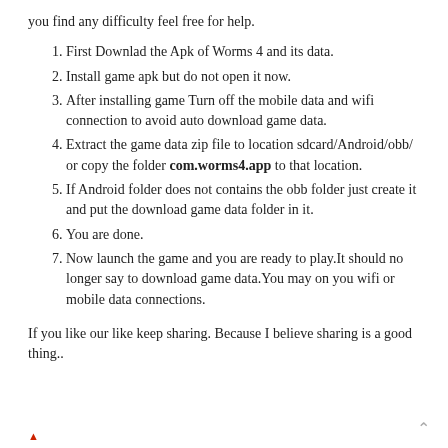you find any difficulty feel free for help.
First Downlad the Apk of Worms 4 and its data.
Install game apk but do not open it now.
After installing game Turn off the mobile data and wifi connection to avoid auto download game data.
Extract the game data zip file to location sdcard/Android/obb/ or copy the folder com.worms4.app to that location.
If Android folder does not contains the obb folder just create it and put the download game data folder in it.
You are done.
Now launch the game and you are ready to play.It should no longer say to download game data.You may on you wifi or mobile data connections.
If you like our like keep sharing. Because I believe sharing is a good thing..